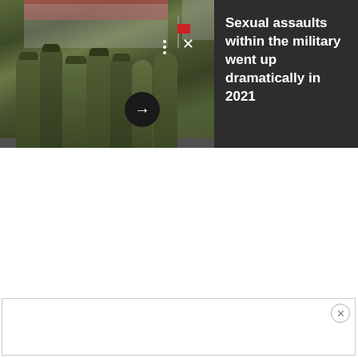[Figure (photo): Military personnel in camouflage uniforms gathered in a group, with a building and flag visible in the background. Screenshot of a news article card/widget.]
Sexual assaults within the military went up dramatically in 2021
[Figure (screenshot): Advertisement placeholder box with a close (X) button in the upper right corner.]